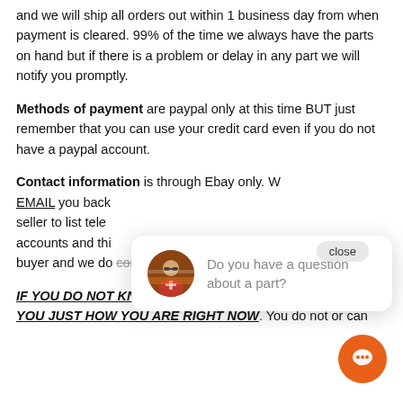and we will ship all orders out within 1 business day from when payment is cleared. 99% of the time we always have the parts on hand but if there is a problem or delay in any part we will notify you promptly.
Methods of payment are paypal only at this time BUT just remember that you can use your credit card even if you do not have a paypal account.
Contact information is through Ebay only. W... EMAIL you back... seller to list tele... accounts and thi... buyer and we do comply with Ebay's terms.
[Figure (screenshot): Chat popup with avatar showing 'Do you have a question about a part?' and a close button]
IF YOU DO NOT KNOW ALREADY, JESUS CHRIST D... YOU JUST HOW YOU ARE RIGHT NOW. You do not or can